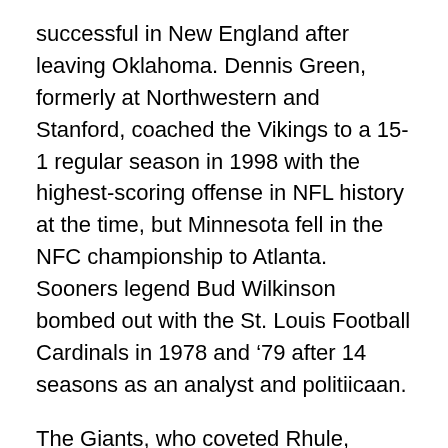successful in New England after leaving Oklahoma. Dennis Green, formerly at Northwestern and Stanford, coached the Vikings to a 15-1 regular season in 1998 with the highest-scoring offense in NFL history at the time, but Minnesota fell in the NFC championship to Atlanta. Sooners legend Bud Wilkinson bombed out with the St. Louis Football Cardinals in 1978 and '79 after 14 seasons as an analyst and politiicaan.
The Giants, who coveted Rhule, instead looked up Interstate 95 and plucked Patriots receivers and special teams coach Joe Judge.
WHO?
In November 1970, the Saints fired Tom Fears and replaced him with J.D. Roberts (see below), who at the